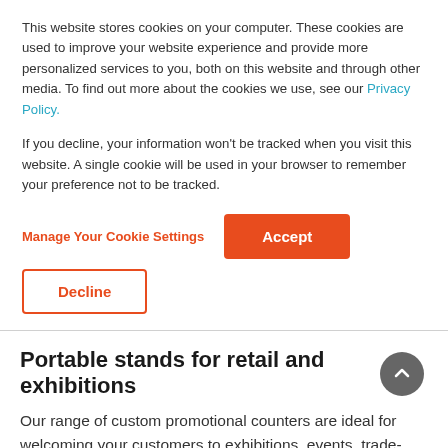This website stores cookies on your computer. These cookies are used to improve your website experience and provide more personalized services to you, both on this website and through other media. To find out more about the cookies we use, see our Privacy Policy.
If you decline, your information won't be tracked when you visit this website. A single cookie will be used in your browser to remember your preference not to be tracked.
Manage Your Cookie Settings | Accept | Decline
Portable stands for retail and exhibitions
Our range of custom promotional counters are ideal for welcoming your customers to exhibitions, events, tradeshows and fairs, or using for in-store promotions and sampling. Lightweight and portable, our pop up counters are easy to assemble and dismantle whilst maintaining sturdiness. To order a promotional counter, simply upload your artwork or create your own graphic using our design app and our team at